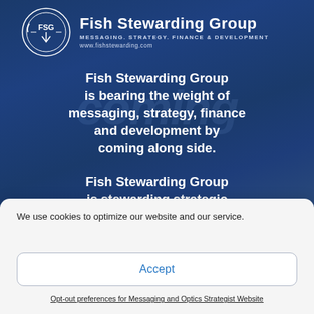[Figure (logo): Fish Stewarding Group logo banner with dark blue background, FSG circular logo, company name, tagline MESSAGING. STRATEGY. FINANCE & DEVELOPMENT, website www.fishstewarding.com, and white text: 'Fish Stewarding Group is bearing the weight of messaging, strategy, finance and development by coming along side. Fish Stewarding Group is stewarding strategic solutions by only building']
We use cookies to optimize our website and our service.
Accept
Opt-out preferences for Messaging and Optics Strategist Website